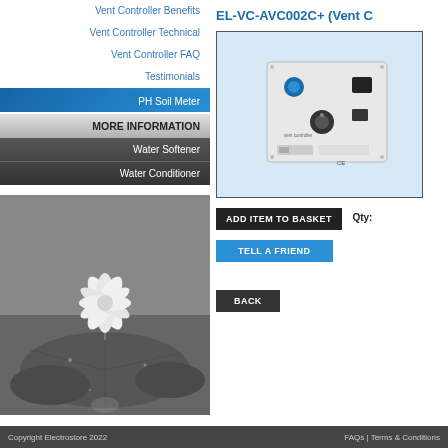Vent Controller Benefits
Vent Controller Technical
Vent Controller FAQ
Testimonials
PH Soil Meter
MORE INFORMATION
Water Softener
Water Conditioner
[Figure (photo): Black and white photo of a water lily flower on lily pads]
EL-VC-AVC002C+ (Vent C
[Figure (photo): Product photo of a white vent controller unit with knobs and labels, on a light blue background, inside a bordered box]
ADD ITEM TO BASKET   Qty:
TELL A FRIEND
BACK
Copyright Electrostore 2022    FAQs | Terms & Conditions